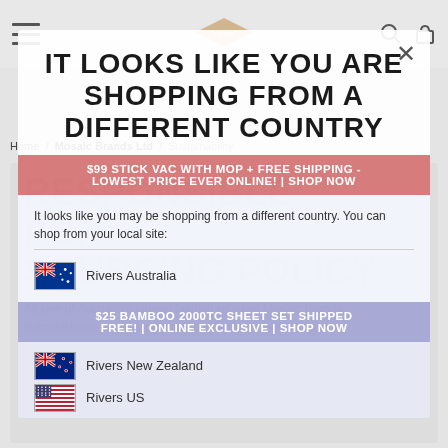IT LOOKS LIKE YOU ARE SHOPPING FROM A DIFFERENT COUNTRY
$99 STICK VAC WITH MOP + FREE SHIPPING - LOWEST PRICE EVER ONLINE! | SHOP NOW
It looks like you may be shopping from a different country. You can shop from your local site:
$25 BAMBOO 2000TC SHEET SET SHIPPED FREE! | ONLINE EXCLUSIVE | SHOP NOW
[Figure (screenshot): Country selector with flags: Australia (Rivers Australia), New Zealand (Rivers New Zealand), and US (Rivers US)]
RESPONSIBLE PURCHASING AND SOURCING POLICY
As one of Australia's largest fashion retailers Mosaic Brands is consistently embracing positive change to build a better